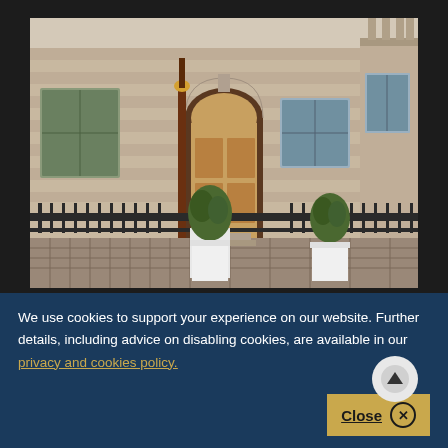[Figure (photo): Exterior facade of a grand neoclassical stone building with arched entrance door, ornate stonework, iron railings, and topiary plants in white containers on cobblestone pavement]
Volunteer Recognition Prizes
We use cookies to support your experience on our website. Further details, including advice on disabling cookies, are available in our privacy and cookies policy.
Close